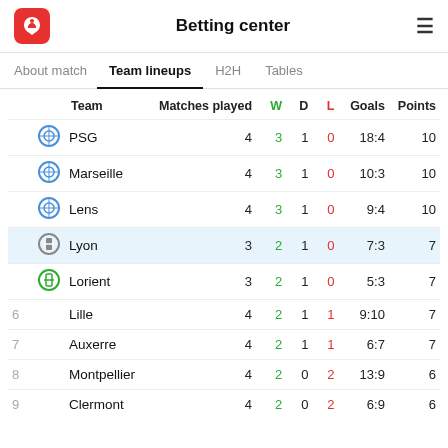Betting center
Team lineups
|  |  | Team | Matches played | W | D | L | Goals | Points |
| --- | --- | --- | --- | --- | --- | --- | --- | --- |
|  | icon | PSG | 4 | 3 | 1 | 0 | 18:4 | 10 |
|  | icon | Marseille | 4 | 3 | 1 | 0 | 10:3 | 10 |
|  | icon | Lens | 4 | 3 | 1 | 0 | 9:4 | 10 |
|  | icon | Lyon | 3 | 2 | 1 | 0 | 7:3 | 7 |
|  | icon | Lorient | 3 | 2 | 1 | 0 | 5:3 | 7 |
| 6 |  | Lille | 4 | 2 | 1 | 1 | 9:10 | 7 |
| 7 |  | Auxerre | 4 | 2 | 1 | 1 | 6:7 | 7 |
| 8 |  | Montpellier | 4 | 2 | 0 | 2 | 13:9 | 6 |
| 9 |  | Clermont | 4 | 2 | 0 | 2 | 6:9 | 6 |